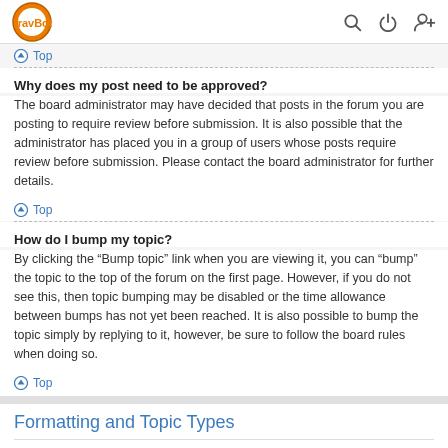TravBot — navigation header with logo and icons
Top
Why does my post need to be approved?
The board administrator may have decided that posts in the forum you are posting to require review before submission. It is also possible that the administrator has placed you in a group of users whose posts require review before submission. Please contact the board administrator for further details.
Top
How do I bump my topic?
By clicking the "Bump topic" link when you are viewing it, you can "bump" the topic to the top of the forum on the first page. However, if you do not see this, then topic bumping may be disabled or the time allowance between bumps has not yet been reached. It is also possible to bump the topic simply by replying to it, however, be sure to follow the board rules when doing so.
Top
Formatting and Topic Types
What is BBCode?